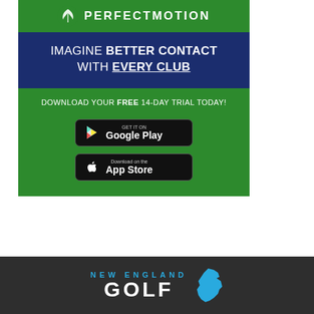[Figure (infographic): PerfectMotion app advertisement. Green background with leaf logo and PERFECTMOTION text at top. Dark navy blue band reading IMAGINE BETTER CONTACT WITH EVERY CLUB. Green section with DOWNLOAD YOUR FREE 14-DAY TRIAL TODAY! text and Google Play and App Store download buttons.]
[Figure (logo): New England Golf logo at bottom on dark gray background. NEW ENGLAND in cyan/blue lettering above GOLF in large white bold letters, with a blue silhouette map of New England states.]